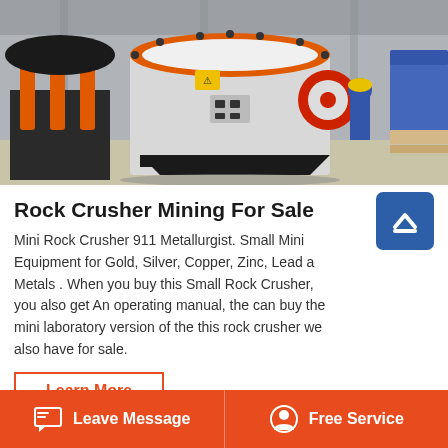[Figure (photo): Industrial rock crusher machinery in a manufacturing facility, with orange and white crushing equipment and a worker in blue overalls and yellow hard hat in the background]
Rock Crusher Mining For Sale
Mini Rock Crusher 911 Metallurgist. Small Mining Equipment for Gold, Silver, Copper, Zinc, Lead and all Metals . When you buy this Small Rock Crusher, you also get An operating manual, the can buy the mini laboratory version of the this rock crusher we also have for sale.
Learn More
Leave Message   Free Service